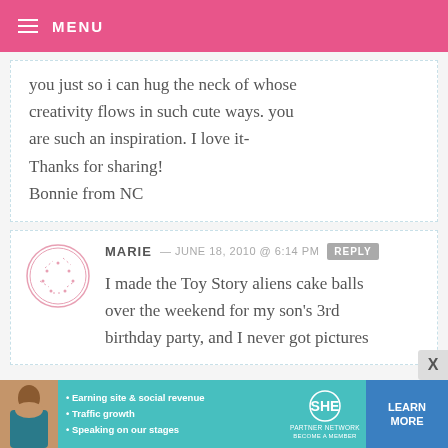MENU
you just so i can hug the neck of whose creativity flows in such cute ways. you are such an inspiration. I love it- Thanks for sharing!
Bonnie from NC
MARIE — JUNE 18, 2010 @ 6:14 PM  REPLY
I made the Toy Story aliens cake balls over the weekend for my son's 3rd birthday party, and I never got pictures
[Figure (infographic): SHE Partner Network advertisement banner with photo of woman, bullet points about earning site & social revenue, traffic growth, speaking on our stages, SHE logo, and Learn More button]